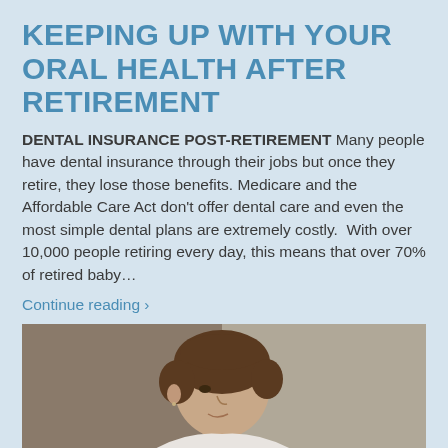KEEPING UP WITH YOUR ORAL HEALTH AFTER RETIREMENT
DENTAL INSURANCE POST-RETIREMENT Many people have dental insurance through their jobs but once they retire, they lose those benefits. Medicare and the Affordable Care Act don't offer dental care and even the most simple dental plans are extremely costly.  With over 10,000 people retiring every day, this means that over 70% of retired baby…
Continue reading ›
[Figure (photo): A middle-aged woman with short brown hair wearing a white t-shirt, shown from the shoulders up, looking downward against a neutral grey/beige background.]